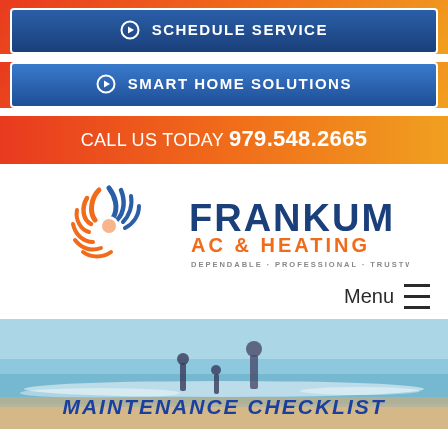SCHEDULE SERVICE
SMART HOME SOLUTIONS
CALL US TODAY 979.548.2665
[Figure (logo): Frankum AC & Heating logo with sun/swirl icon in orange and blue, tagline: DEPENDABLE · PROFESSIONAL · TRUSTWORTHY]
Menu
MAINTENANCE CHECKLIST